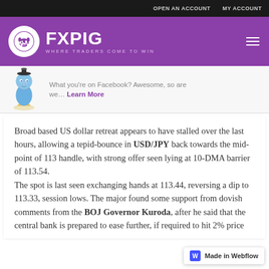OPEN AN ACCOUNT   MY ACCOUNT
[Figure (logo): FXPIG logo — white circle with pig/heartbeat icon, text FXPIG WHERE TRADERS COME TO WIN on purple background]
[Figure (illustration): Blue cartoon pig genie mascot with Facebook social media banner text: What you're on Facebook? Awesome, so are we... Learn More]
Broad based US dollar retreat appears to have stalled over the last hours, allowing a tepid-bounce in USD/JPY back towards the mid-point of 113 handle, with strong offer seen lying at 10-DMA barrier of 113.54.
The spot is last seen exchanging hands at 113.44, reversing a dip to 113.33, session lows. The major found some support from dovish comments from the BOJ Governor Kuroda, after he said that the central bank is prepared to ease further, if required to hit 2% price